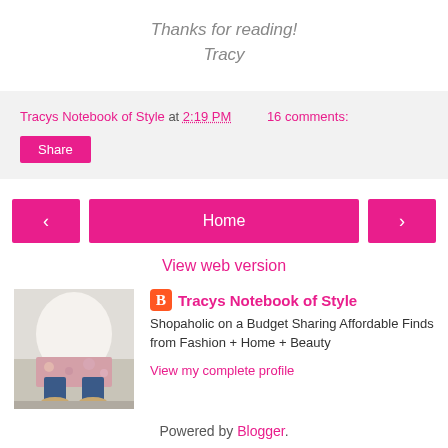Thanks for reading!
Tracy
Tracys Notebook of Style at 2:19 PM   16 comments:
Share
‹
Home
›
View web version
Tracys Notebook of Style
Shopaholic on a Budget Sharing Affordable Finds from Fashion + Home + Beauty
View my complete profile
Powered by Blogger.